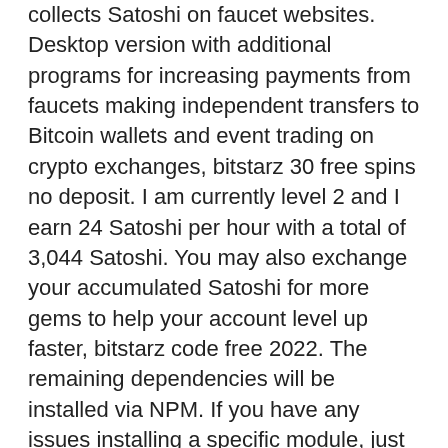collects Satoshi on faucet websites. Desktop version with additional programs for increasing payments from faucets making independent transfers to Bitcoin wallets and event trading on crypto exchanges, bitstarz 30 free spins no deposit. I am currently level 2 and I earn 24 Satoshi per hour with a total of 3,044 Satoshi. You may also exchange your accumulated Satoshi for more gems to help your account level up faster, bitstarz code free 2022. The remaining dependencies will be installed via NPM. If you have any issues installing a specific module, just research the commands above & the error, bitstarz бесплатно. It was developed by Gavin Andresen in 2010, and it was called 'The Bitcoin Faucet'. This model expanded to other altcoins and today, other crypto coins such as Litecoin and Ethereum, have also developed their faucets, bitstarz promo code tiradas gratis. Here are some of the other popular crypto faucets of 2020 that